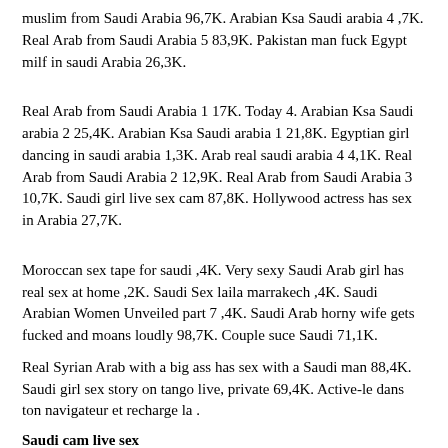muslim from Saudi Arabia 96,7K. Arabian Ksa Saudi arabia 4 ,7K. Real Arab from Saudi Arabia 5 83,9K. Pakistan man fuck Egypt milf in saudi Arabia 26,3K.
Real Arab from Saudi Arabia 1 17K. Today 4. Arabian Ksa Saudi arabia 2 25,4K. Arabian Ksa Saudi arabia 1 21,8K. Egyptian girl dancing in saudi arabia 1,3K. Arab real saudi arabia 4 4,1K. Real Arab from Saudi Arabia 2 12,9K. Real Arab from Saudi Arabia 3 10,7K. Saudi girl live sex cam 87,8K. Hollywood actress has sex in Arabia 27,7K.
Moroccan sex tape for saudi ,4K. Very sexy Saudi Arab girl has real sex at home ,2K. Saudi Sex laila marrakech ,4K. Saudi Arabian Women Unveiled part 7 ,4K. Saudi Arab horny wife gets fucked and moans loudly 98,7K. Couple suce Saudi 71,1K.
Real Syrian Arab with a big ass has sex with a Saudi man 88,4K. Saudi girl sex story on tango live, private 69,4K. Active-le dans ton navigateur et recharge la .
Saudi cam live sex